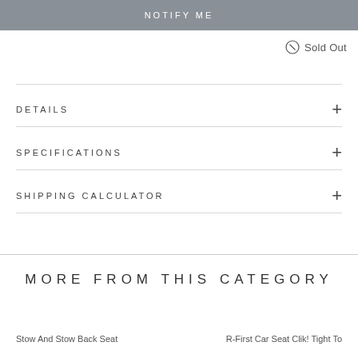NOTIFY ME
Sold Out
DETAILS
SPECIFICATIONS
SHIPPING CALCULATOR
MORE FROM THIS CATEGORY
Stow And Stow Back Seat
R-First Car Seat Clik! Tight Top